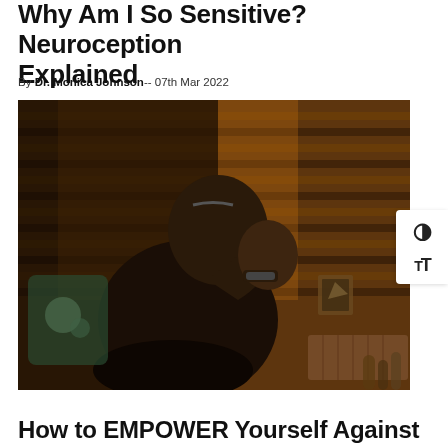Why Am I So Sensitive? Neuroception Explained
By Dr. Monica Johnson-- 07th Mar 2022
[Figure (photo): A person sitting on a couch with their head resting in their hand, looking stressed or distressed. Warm light comes through horizontal window blinds in the background. The person is wearing a dark t-shirt and a watch/bracelet.]
How to EMPOWER Yourself Against